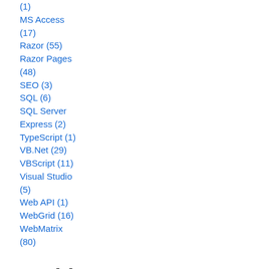(1)
MS Access (17)
Razor (55)
Razor Pages (48)
SEO (3)
SQL (6)
SQL Server Express (2)
TypeScript (1)
VB.Net (29)
VBScript (11)
Visual Studio (5)
Web API (1)
WebGrid (16)
WebMatrix (80)
Archive
2022
September 2022 (1)
August 2022